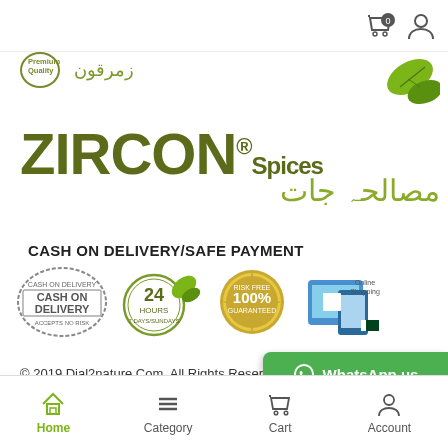[Figure (logo): Zircon Spices logo with Premium Quality badge, Arabic text, and green leaf illustration]
CASH ON DELIVERY/SAFE PAYMENT
[Figure (infographic): Four payment/delivery badges: Cash on Delivery stamp, 24 Hours service seal, 100% Risk Free Guaranteed seal, Online Shopping icon]
© 2019 Dial2nature.Com. All Rights Reserved
[Figure (other): WhatsApp us green button]
[Figure (other): Bottom navigation bar with Home (active, green), Category, Cart, Account icons]